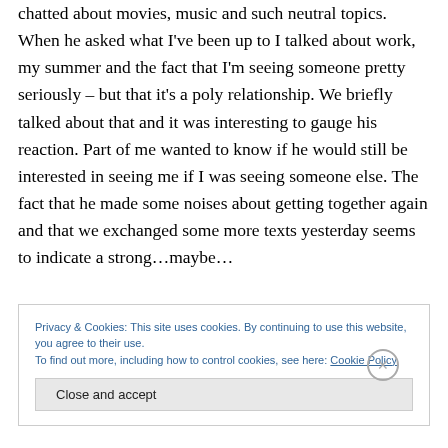chatted about movies, music and such neutral topics. When he asked what I've been up to I talked about work, my summer and the fact that I'm seeing someone pretty seriously – but that it's a poly relationship. We briefly talked about that and it was interesting to gauge his reaction. Part of me wanted to know if he would still be interested in seeing me if I was seeing someone else. The fact that he made some noises about getting together again and that we exchanged some more texts yesterday seems to indicate a strong…maybe…
Privacy & Cookies: This site uses cookies. By continuing to use this website, you agree to their use. To find out more, including how to control cookies, see here: Cookie Policy